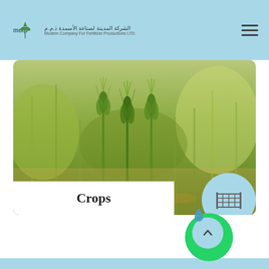MCFP - Modern Company For Fertilizer Productions LTD - الشركة المدينة لصناعة الأسمدة ذ.م.م
[Figure (photo): Close-up photograph of green wheat/barley crop ears with blurred background]
Crops
[Figure (illustration): Crop field fence/grid icon in light blue circle]
[Figure (illustration): Scroll-to-top arrow button in light blue circle with water drop icon]
[Figure (illustration): WhatsApp icon button in green circle]